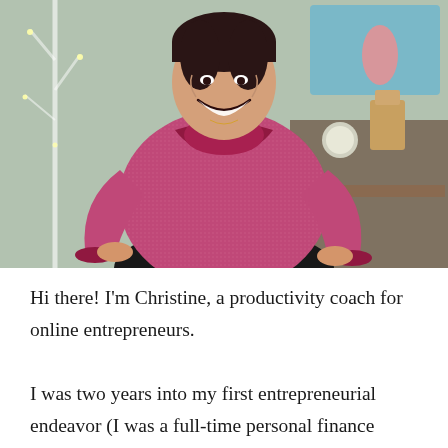[Figure (photo): A smiling woman with short dark hair, wearing a heathered magenta/pink long-sleeve athletic top with darker pink collar and cuffs, hands on hips, standing in front of a home office desk area with decorative items including a flamingo art print and a white branch with fairy lights.]
Hi there! I'm Christine, a productivity coach for online entrepreneurs.
I was two years into my first entrepreneurial endeavor (I was a full-time personal finance